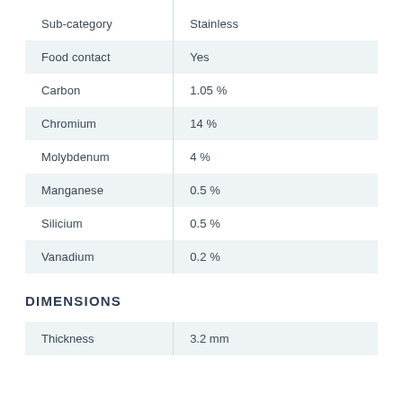| Property | Value |
| --- | --- |
| Sub-category | Stainless |
| Food contact | Yes |
| Carbon | 1.05 % |
| Chromium | 14 % |
| Molybdenum | 4 % |
| Manganese | 0.5 % |
| Silicium | 0.5 % |
| Vanadium | 0.2 % |
DIMENSIONS
| Property | Value |
| --- | --- |
| Thickness | 3.2 mm |